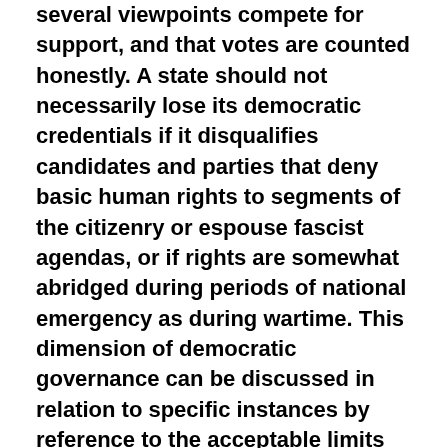several viewpoints compete for support, and that votes are counted honestly. A state should not necessarily lose its democratic credentials if it disqualifies candidates and parties that deny basic human rights to segments of the citizenry or espouse fascist agendas, or if rights are somewhat abridged during periods of national emergency as during wartime. This dimension of democratic governance can be discussed in relation to specific instances by reference to the acceptable limits on the practice of procedural democracy. Such a form of government is sensitive to the dangers of abuses and corruptions of power, invoking 'checks and balances' and 'separation of powers' as institutional bulwarks of restraint on 'the tyranny of the mob' or the predatory behavior of the tyrant, and can be better identified as republican democracy.